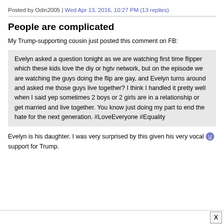Posted by Odin2005 | Wed Apr 13, 2016, 10:27 PM (13 replies)
People are complicated
My Trump-supporting cousin just posted this comment on FB:
Evelyn asked a question tonight as we are watching first time flipper which these kids love the diy or hgtv network, but on the episode we are watching the guys doing the flip are gay, and Evelyn turns around and asked me those guys live together? I think I handled it pretty well when I said yep sometimes 2 boys or 2 girls are in a relationship or get married and live together. You know just doing my part to end the hate for the next generation. #LoveEveryone #Equality
Evelyn is his daughter. I was very surprised by this given his very vocal 😮 support for Trump.